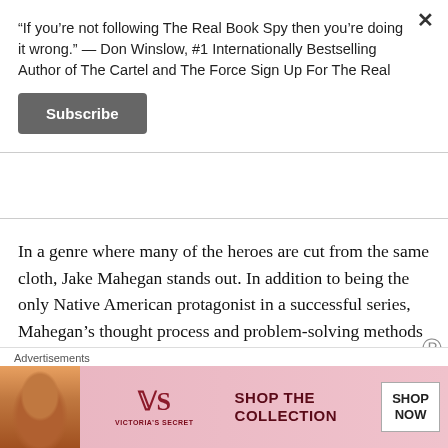“If you’re not following The Real Book Spy then you’re doing it wrong.” — Don Winslow, #1 Internationally Bestselling Author of The Cartel and The Force Sign Up For The Real
Subscribe
In a genre where many of the heroes are cut from the same cloth, Jake Mahegan stands out. In addition to being the only Native American protagonist in a successful series, Mahegan’s thought process and problem-solving methods can be a tad out of the box. Last year’s Three Minutes To Midnight was good, but this year’s book reaches a new level.
Advertisements
[Figure (infographic): Victoria's Secret advertisement banner: photo of a woman on the left, Victoria's Secret logo in center, text 'SHOP THE COLLECTION' with a 'SHOP NOW' button on the right, pink gradient background.]